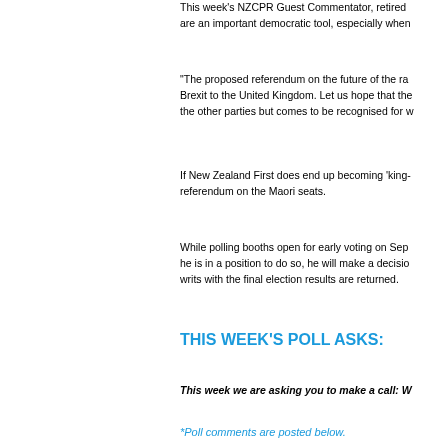This week's NZCPR Guest Commentator, retired ... are an important democratic tool, especially when...
“The proposed referendum on the future of the ra... Brexit to the United Kingdom. Let us hope that the... the other parties but comes to be recognised for w...
If New Zealand First does end up becoming ‘king-... referendum on the Maori seats.
While polling booths open for early voting on Sep... he is in a position to do so, he will make a decisio... writs with the final election results are returned.
THIS WEEK’S POLL ASKS:
This week we are asking you to make a call: W...
*Poll comments are posted below.
*All NZCPR poll results can be seen in t...